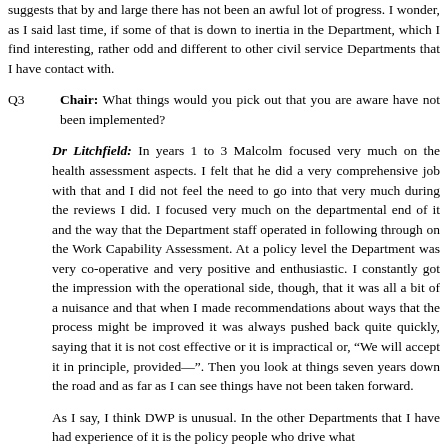suggests that by and large there has not been an awful lot of progress. I wonder, as I said last time, if some of that is down to inertia in the Department, which I find interesting, rather odd and different to other civil service Departments that I have contact with.
Q3  Chair: What things would you pick out that you are aware have not been implemented?
Dr Litchfield: In years 1 to 3 Malcolm focused very much on the health assessment aspects. I felt that he did a very comprehensive job with that and I did not feel the need to go into that very much during the reviews I did. I focused very much on the departmental end of it and the way that the Department staff operated in following through on the Work Capability Assessment. At a policy level the Department was very co-operative and very positive and enthusiastic. I constantly got the impression with the operational side, though, that it was all a bit of a nuisance and that when I made recommendations about ways that the process might be improved it was always pushed back quite quickly, saying that it is not cost effective or it is impractical or, "We will accept it in principle, provided—". Then you look at things seven years down the road and as far as I can see things have not been taken forward.
As I say, I think DWP is unusual. In the other Departments that I have had experience of it is the policy people who drive what